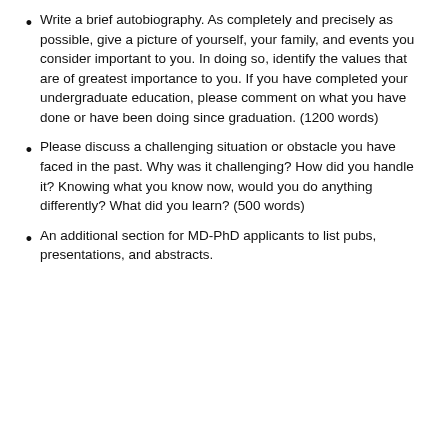Write a brief autobiography. As completely and precisely as possible, give a picture of yourself, your family, and events you consider important to you. In doing so, identify the values that are of greatest importance to you. If you have completed your undergraduate education, please comment on what you have done or have been doing since graduation. (1200 words)
Please discuss a challenging situation or obstacle you have faced in the past. Why was it challenging? How did you handle it? Knowing what you know now, would you do anything differently? What did you learn? (500 words)
An additional section for MD-PhD applicants to list pubs, presentations, and abstracts.